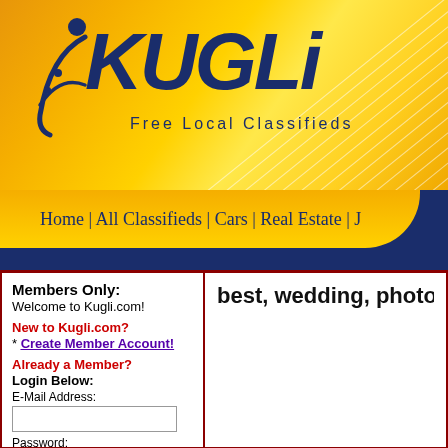[Figure (logo): KUGLi Free Local Classifieds website header banner with gold/yellow gradient background and white decorative lines. Dark blue KUGLi logo text with figure/icon and tagline 'Free Local Classifieds'.]
Home | All Classifieds | Cars | Real Estate | J
Members Only:
Welcome to Kugli.com!

New to Kugli.com?
* Create Member Account!

Already a Member?
Login Below:
E-Mail Address:

Password:

Login Now
best, wedding, photographer, gu